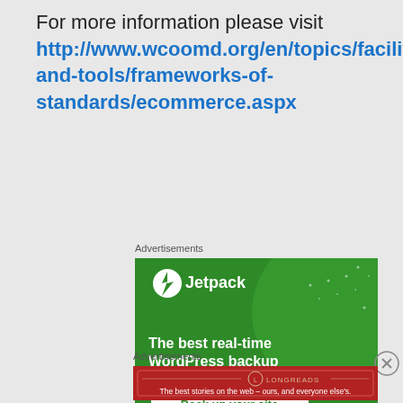For more information please visit http://www.wcoomd.org/en/topics/facilitation/i and-tools/frameworks-of-standards/ecommerce.aspx
Advertisements
[Figure (illustration): Jetpack advertisement banner - green background with Jetpack logo, large circle, text 'The best real-time WordPress backup plugin' and a white button 'Back up your site']
Advertisements
[Figure (illustration): Longreads advertisement banner - red background with Longreads logo, text 'The best stories on the web - ours, and everyone else's.']